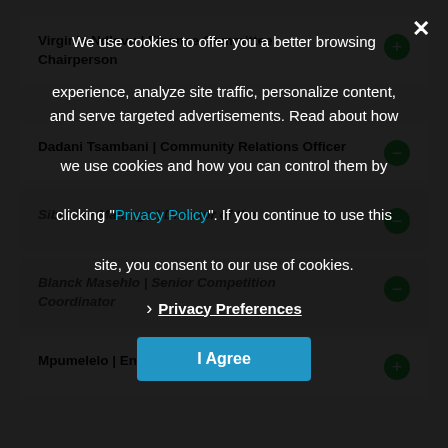Virginia Ndlovu | Finance Committee Chairperson
Dadani Tsambani | Community Relations Officer
Sibusiso Malunga | Director of the
Blanck Masehlo | Senior Competition Coordinator
Mpumelelo | Entertainment Coordinator
We use cookies to offer you a better browsing experience, analyze site traffic, personalize content, and serve targeted advertisements. Read about how we use cookies and how you can control them by clicking "Privacy Policy". If you continue to use this site, you consent to our use of cookies.
Privacy Preferences
I Agree